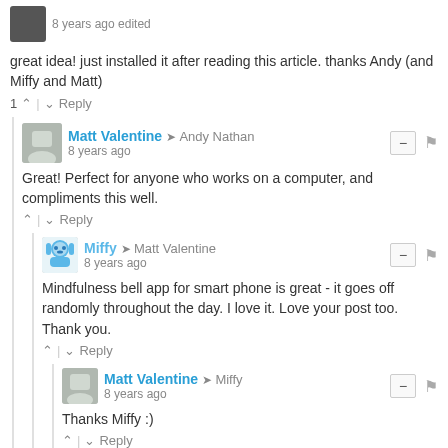8 years ago edited
great idea! just installed it after reading this article. thanks Andy (and Miffy and Matt)
1 ^ | v Reply
Matt Valentine → Andy Nathan
8 years ago
Great! Perfect for anyone who works on a computer, and compliments this well.
^ | v Reply
Miffy → Matt Valentine
8 years ago
Mindfulness bell app for smart phone is great - it goes off randomly throughout the day. I love it. Love your post too. Thank you.
^ | v Reply
Matt Valentine → Miffy
8 years ago
Thanks Miffy :)
^ | v Reply